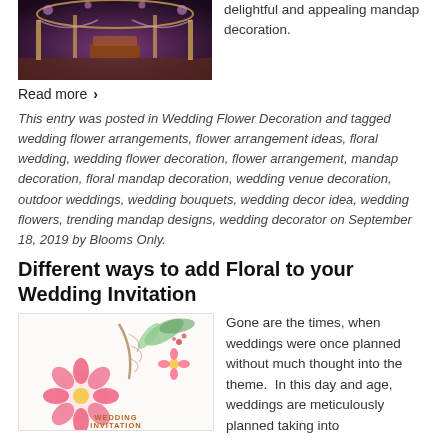[Figure (photo): Wedding mandap decoration photo with purple/maroon lighting and ornate decor]
delightful and appealing mandap decoration.
Read more ›
This entry was posted in Wedding Flower Decoration and tagged wedding flower arrangements, flower arrangement ideas, floral wedding, wedding flower decoration, flower arrangement, mandap decoration, floral mandap decoration, wedding venue decoration, outdoor weddings, wedding bouquets, wedding decor idea, wedding flowers, trending mandap designs, wedding decorator on September 18, 2019 by Blooms Only.
Different ways to add Floral to your Wedding Invitation
[Figure (photo): Floral wedding invitation design with pink flowers and greenery, text reads WEDDING INVITATION]
Gone are the times, when weddings were once planned without much thought into the theme.  In this day and age, weddings are meticulously planned taking into